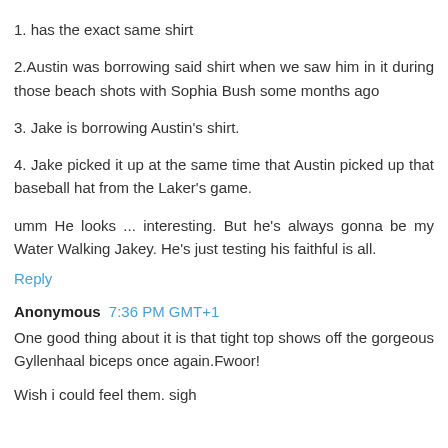1. has the exact same shirt
2.Austin was borrowing said shirt when we saw him in it during those beach shots with Sophia Bush some months ago
3. Jake is borrowing Austin's shirt.
4. Jake picked it up at the same time that Austin picked up that baseball hat from the Laker's game.
umm He looks ... interesting. But he's always gonna be my Water Walking Jakey. He's just testing his faithful is all.
Reply
Anonymous 7:36 PM GMT+1
One good thing about it is that tight top shows off the gorgeous Gyllenhaal biceps once again.Fwoor!
Wish i could feel them. sigh